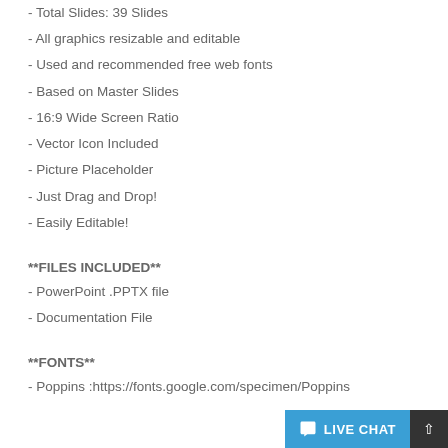- Total Slides: 39 Slides
- All graphics resizable and editable
- Used and recommended free web fonts
- Based on Master Slides
- 16:9 Wide Screen Ratio
- Vector Icon Included
- Picture Placeholder
- Just Drag and Drop!
- Easily Editable!
**FILES INCLUDED**
- PowerPoint .PPTX file
- Documentation File
**FONTS**
- Poppins :https://fonts.google.com/specimen/Poppins